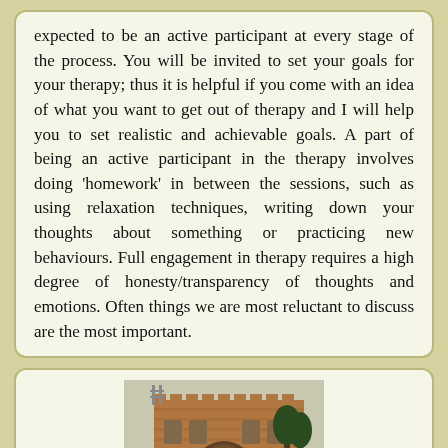expected to be an active participant at every stage of the process. You will be invited to set your goals for your therapy; thus it is helpful if you come with an idea of what you want to get out of therapy and I will help you to set realistic and achievable goals. A part of being an active participant in the therapy involves doing 'homework' in between the sessions, such as using relaxation techniques, writing down your thoughts about something or practicing new behaviours. Full engagement in therapy requires a high degree of honesty/transparency of thoughts and emotions. Often things we are most reluctant to discuss are the most important.
[Figure (photo): Photograph of a historic building with gothic arched doorway and stone facade, partially visible with trees on the right side. A circular scroll-to-top button appears in the bottom right corner.]